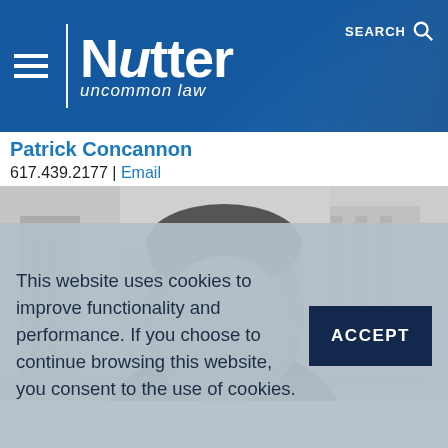Nutter | uncommon law | SEARCH
Patrick Concannon
617.439.2177 | Email
[Figure (photo): Black and white photo of Patrick Concannon, partial view showing the top of his head and upper body, blurred background of an office building.]
This website uses cookies to improve functionality and performance. If you choose to continue browsing this website, you consent to the use of cookies.